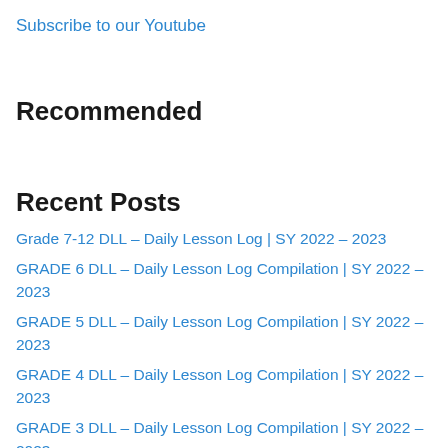Subscribe to our Youtube
Recommended
Recent Posts
Grade 7-12 DLL – Daily Lesson Log | SY 2022 – 2023
GRADE 6 DLL – Daily Lesson Log Compilation | SY 2022 – 2023
GRADE 5 DLL – Daily Lesson Log Compilation | SY 2022 – 2023
GRADE 4 DLL – Daily Lesson Log Compilation | SY 2022 – 2023
GRADE 3 DLL – Daily Lesson Log Compilation | SY 2022 – 2023